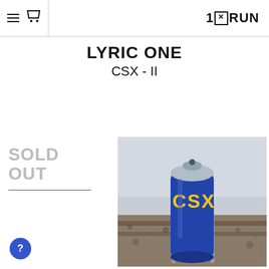1xRUN
LYRIC ONE
CSX - II
SOLD OUT
[Figure (photo): A blue spray paint can with yellow 'CSX' lettering sitting on railroad tracks with gravel, foggy industrial background.]